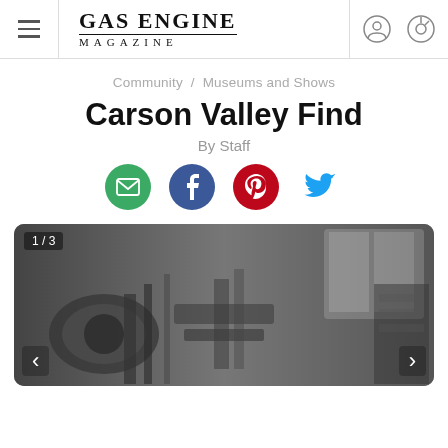Gas Engine Magazine
Community / Museums and Shows
Carson Valley Find
By Staff
[Figure (other): Social sharing buttons: email (green), Facebook (blue), Pinterest (red), Twitter (blue bird)]
[Figure (photo): Black and white photograph of vintage gas engine machinery in a workshop setting, showing large mechanical parts. Slide 1 of 3 with navigation arrows.]